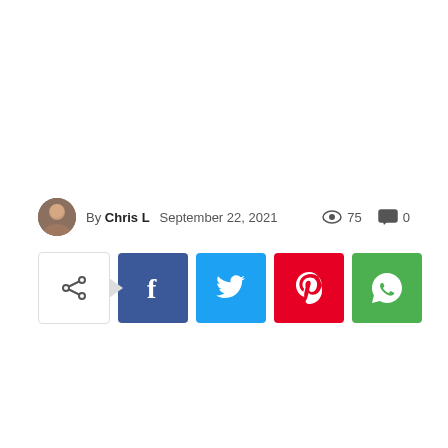By Chris L  September 22, 2021  75 views  0 comments
[Figure (infographic): Social share buttons row: share toggle icon followed by Facebook (blue), Twitter (light blue), Pinterest (red), WhatsApp (green) square buttons]